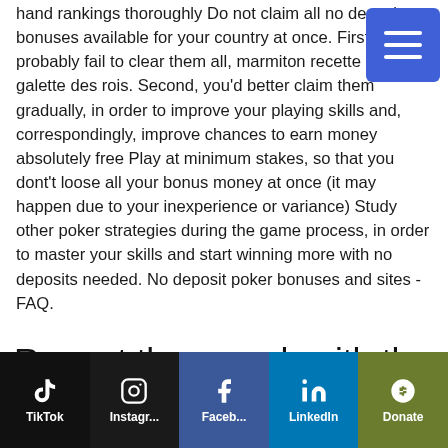hand rankings thoroughly Do not claim all no deposit bonuses available for your country at once. First, you probably fail to clear them all, marmiton recette roulette galette des rois. Second, you'd better claim them gradually, in order to improve your playing skills and, correspondingly, improve chances to earn money absolutely free Play at minimum stakes, so that you dont't loose all your bonus money at once (it may happen due to your inexperience or variance) Study other poker strategies during the game process, in order to master your skills and start winning more with no deposits needed. No deposit poker bonuses and sites - FAQ.
[Figure (other): Blue hamburger menu button (three horizontal white lines on blue background)]
Repeat the search with the omitted results included
TikTok | Instagram | Facebook | LinkedIn | Donate